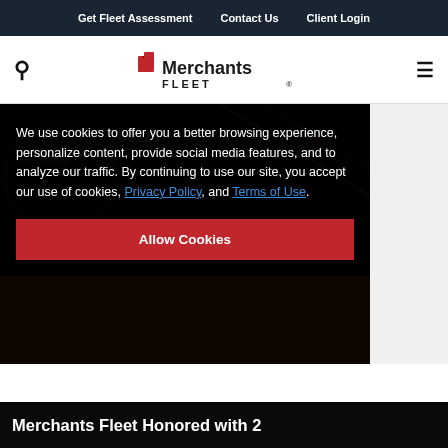Get Fleet Assessment   Contact Us   Client Login
[Figure (logo): Merchants Fleet logo with red icon and bold text]
[Figure (photo): Dark hero image with self-driving car dashboard overlay showing time 09:21 and 'Self-Driving' badge, with streaking light trails]
We use cookies to offer you a better browsing experience, personalize content, provide social media features, and to analyze our traffic. By continuing to use our site, you accept our use of cookies, Privacy Policy, and Terms of Use.
Allow Cookies
Merchants Fleet Honored with 2